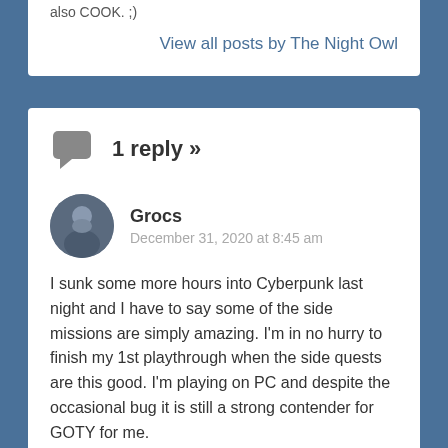also COOK. ;)
View all posts by The Night Owl
1 reply »
Grocs
December 31, 2020 at 8:45 am
I sunk some more hours into Cyberpunk last night and I have to say some of the side missions are simply amazing. I'm in no hurry to finish my 1st playthrough when the side quests are this good. I'm playing on PC and despite the occasional bug it is still a strong contender for GOTY for me.
I'm enjoying COD BO Cold War as well, but have had